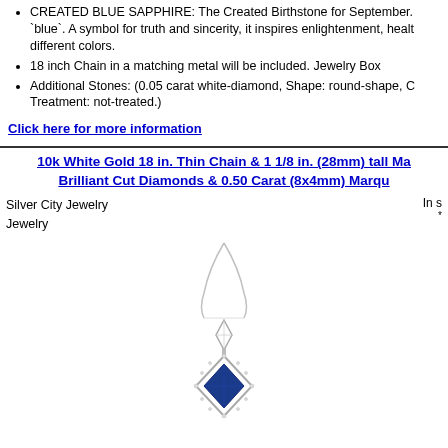CREATED BLUE SAPPHIRE: The Created Birthstone for September. `blue`. A symbol for truth and sincerity, it inspires enlightenment, health different colors.
18 inch Chain in a matching metal will be included. Jewelry Box
Additional Stones: (0.05 carat white-diamond, Shape: round-shape, C Treatment: not-treated.)
Click here for more information
10k White Gold 18 in. Thin Chain & 1 1/8 in. (28mm) tall Mar Brilliant Cut Diamonds & 0.50 Carat (8x4mm) Marqu
Silver City Jewelry
Jewelry
In s *
[Figure (photo): Jewelry pendant necklace with a thin chain and a marquise-shaped pendant featuring a blue sapphire stone surrounded by brilliant cut diamonds]
Description:
10k White Gold 18 in. Thin Chain & 1 1/8 in. (28mm) tall Marquise-shape Diamonds & 0.50 Carat (8x4mm) Marquise Cut Blue Sapphire Stone